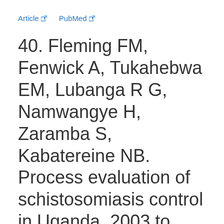Article  PubMed
40. Fleming FM, Fenwick A, Tukahebwa EM, Lubanga R G, Namwangye H, Zaramba S, Kabatereine NB. Process evaluation of schistosomiasis control in Uganda, 2003 to 2006: perceptions, attitudes and constraints of a national programme. Parasitology 2009;136: 1759-1969.